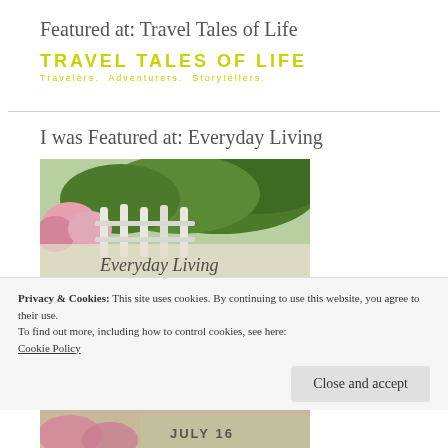Featured at: Travel Tales of Life
[Figure (logo): Travel Tales of Life logo — yellow uppercase text with tagline 'Travelers. Adventurers. Storytellers.']
I was Featured at: Everyday Living
[Figure (photo): Garden image with white picket fence, pink flowers and green foliage, with cursive text overlay]
Privacy & Cookies: This site uses cookies. By continuing to use this website, you agree to their use.
To find out more, including how to control cookies, see here:
Cookie Policy
[Figure (photo): Bottom strip of a garden/floral image with text 'July 16']